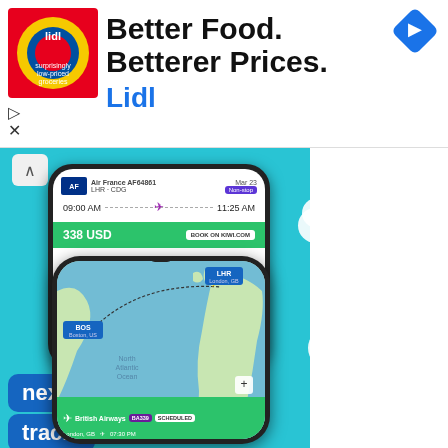[Figure (screenshot): Lidl advertisement banner with logo, headline 'Better Food. Betterer Prices.' and brand name 'Lidl', with navigation icon]
[Figure (screenshot): Kiwi.com flight tracking app screenshot showing a phone with Air France flight LHR-CDG for 338 USD, text overlays 'next flight.' and 'track.', and a second phone showing a map tracking British Airways flight BA339 from Boston US to London GB, scheduled, with a bottom bar showing 'London, GB' and departure time]